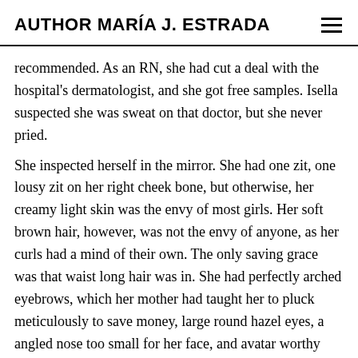AUTHOR MARÍA J. ESTRADA
recommended. As an RN, she had cut a deal with the hospital's dermatologist, and she got free samples. Isella suspected she was sweat on that doctor, but she never pried.
She inspected herself in the mirror. She had one zit, one lousy zit on her right cheek bone, but otherwise, her creamy light skin was the envy of most girls. Her soft brown hair, however, was not the envy of anyone, as her curls had a mind of their own. The only saving grace was that waist long hair was in. She had perfectly arched eyebrows, which her mother had taught her to pluck meticulously to save money, large round hazel eyes, a angled nose too small for her face, and avatar worthy full lips. The one thing that bothered her is that